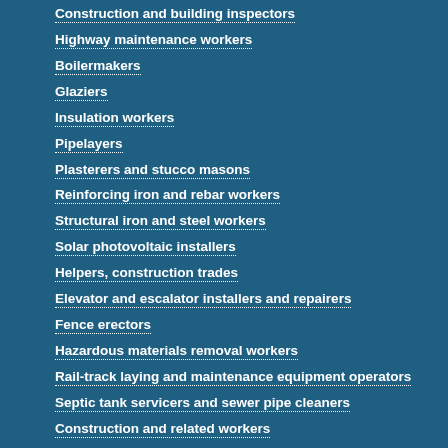Construction and building inspectors
Highway maintenance workers
Boilermakers
Glaziers
Insulation workers
Pipelayers
Plasterers and stucco masons
Reinforcing iron and rebar workers
Structural iron and steel workers
Solar photovoltaic installers
Helpers, construction trades
Elevator and escalator installers and repairers
Fence erectors
Hazardous materials removal workers
Rail-track laying and maintenance equipment operators
Septic tank servicers and sewer pipe cleaners
Construction and related workers
Derrick, rotary drill, and service unit operators, oil and gas